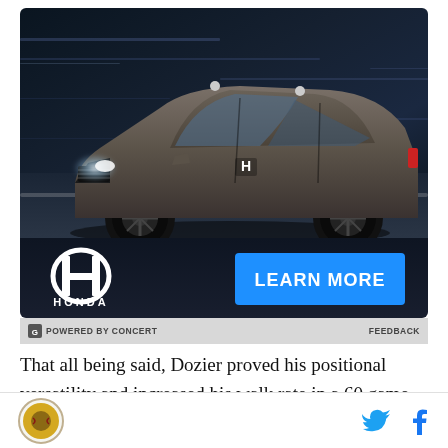[Figure (photo): Honda SUV advertisement showing a grey/brown Honda crossover SUV driving on a dark road with motion blur background. Bottom bar shows Honda logo on left and a blue 'LEARN MORE' button on right.]
POWERED BY CONCERT    FEEDBACK
That all being said, Dozier proved his positional versatility and increased his walk rate in a 60 game season where he missed significant time. Walk rates
[Figure (logo): Circular site logo (Milwaukee Brewers style) on bottom left with Twitter and Facebook social icons on bottom right]